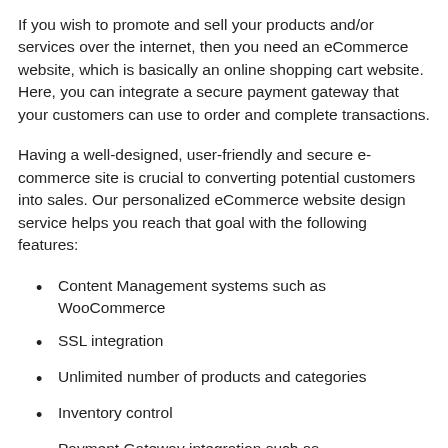If you wish to promote and sell your products and/or services over the internet, then you need an eCommerce website, which is basically an online shopping cart website. Here, you can integrate a secure payment gateway that your customers can use to order and complete transactions.
Having a well-designed, user-friendly and secure e-commerce site is crucial to converting potential customers into sales. Our personalized eCommerce website design service helps you reach that goal with the following features:
Content Management systems such as WooCommerce
SSL integration
Unlimited number of products and categories
Inventory control
Payment Gateway integration such as